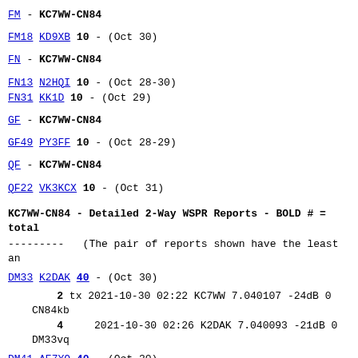FM - KC7WW-CN84
FM18 KD9XB 10 - (Oct 30)
FN - KC7WW-CN84
FN13 N2HQI 10 - (Oct 28-30)
FN31 KK1D 10 - (Oct 29)
GF - KC7WW-CN84
GF49 PY3FF 10 - (Oct 28-29)
QF - KC7WW-CN84
QF22 VK3KCX 10 - (Oct 31)
KC7WW-CN84 - Detailed 2-Way WSPR Reports - BOLD # = total
--------- (The pair of reports shown have the least an
DM33 K2DAK 40 - (Oct 30)
2 tx 2021-10-30 02:22 KC7WW 7.040107 -24dB 0 CN84kb
4    2021-10-30 02:26 K2DAK 7.040093 -21dB 0 DM33vq
DM41 AE7YQ 40 - (Oct 30)
1 tx 2021-10-30 03:40 KC7WW 7.040099 -23dB 0 CN84kb
16   2021-10-30 03:38 AE7YQ 7.040109 -17dB 0 DM41kx
EM10 W5XTT 10 - (Oct 29-30)